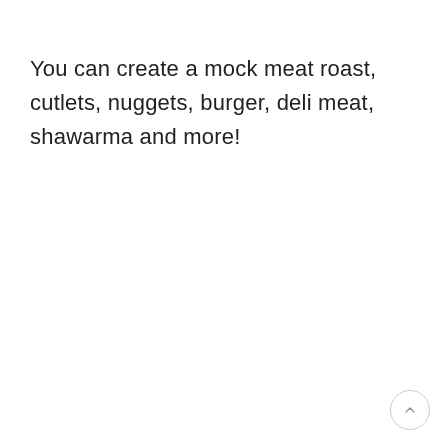You can create a mock meat roast, cutlets, nuggets, burger, deli meat, shawarma and more!